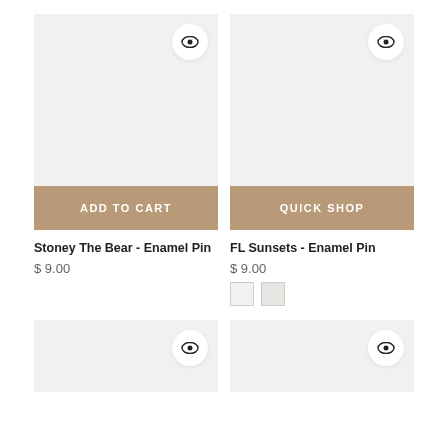[Figure (photo): Product image placeholder - light gray background with eye/quickview icon button, Add to Cart button. Stoney The Bear Enamel Pin product.]
ADD TO CART
Stoney The Bear - Enamel Pin
$ 9.00
[Figure (photo): Product image placeholder - light gray background with eye/quickview icon button, Quick Shop button. FL Sunsets Enamel Pin product.]
QUICK SHOP
FL Sunsets - Enamel Pin
$ 9.00
[Figure (photo): Product image placeholder - light gray background with eye/quickview icon button. Bottom left product card.]
[Figure (photo): Product image placeholder - light gray background with eye/quickview icon button. Bottom right product card.]